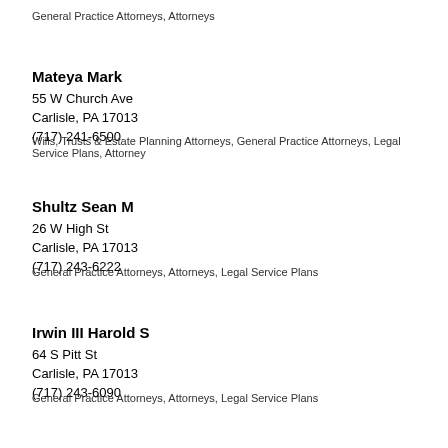General Practice Attorneys, Attorneys
Mateya Mark
55 W Church Ave
Carlisle, PA 17013
(717) 241-6500
Wills, Trusts & Estate Planning Attorneys, General Practice Attorneys, Legal Service Plans, Attorney
Shultz Sean M
26 W High St
Carlisle, PA 17013
(717) 243-6222
General Practice Attorneys, Attorneys, Legal Service Plans
Irwin III Harold S
64 S Pitt St
Carlisle, PA 17013
(717) 243-6090
General Practice Attorneys, Attorneys, Legal Service Plans